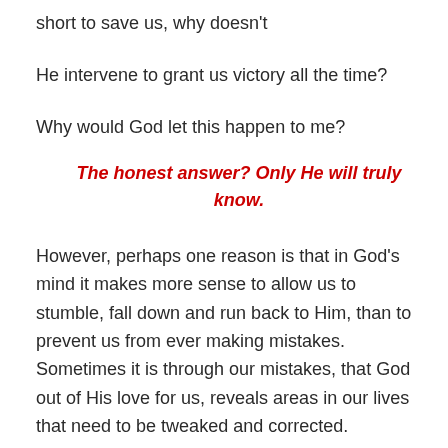short to save us, why doesn't
He intervene to grant us victory all the time?
Why would God let this happen to me?
The honest answer? Only He will truly know.
However, perhaps one reason is that in God's mind it makes more sense to allow us to stumble, fall down and run back to Him, than to prevent us from ever making mistakes. Sometimes it is through our mistakes, that God out of His love for us, reveals areas in our lives that need to be tweaked and corrected.
A good example is King David – who desired a woman so